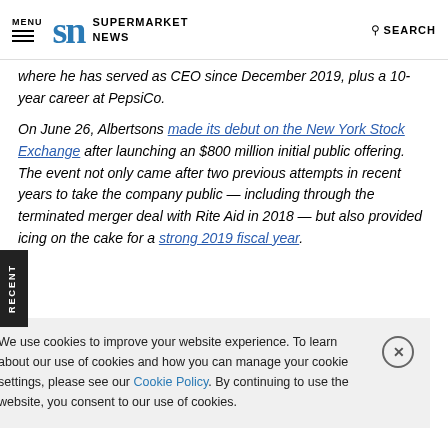MENU | SN SUPERMARKET NEWS | SEARCH
where he has served as CEO since December 2019, plus a 10-year career at PepsiCo.
On June 26, Albertsons made its debut on the New York Stock Exchange after launching an $800 million initial public offering. The event not only came after two previous attempts in recent years to take the company public — including through the terminated merger deal with Rite Aid in 2018 — but also provided icing on the cake for a strong 2019 fiscal year.
We use cookies to improve your website experience. To learn about our use of cookies and how you can manage your cookie settings, please see our Cookie Policy. By continuing to use the website, you consent to our use of cookies.